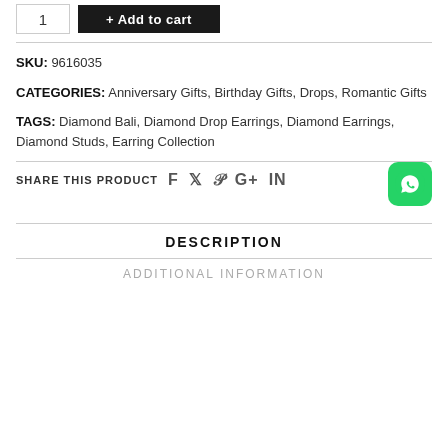[Figure (screenshot): Quantity input box showing '1' and Add to cart button]
SKU: 9616035
CATEGORIES: Anniversary Gifts, Birthday Gifts, Drops, Romantic Gifts
TAGS: Diamond Bali, Diamond Drop Earrings, Diamond Earrings, Diamond Studs, Earring Collection
SHARE THIS PRODUCT
[Figure (logo): WhatsApp green icon button]
DESCRIPTION
ADDITIONAL INFORMATION